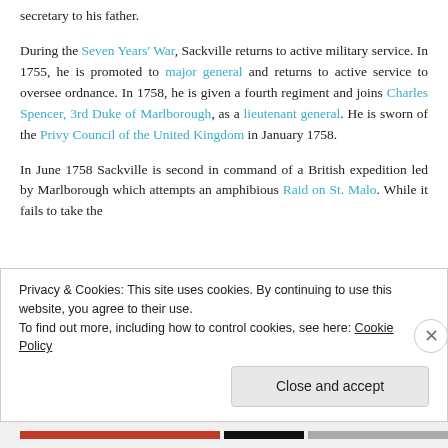secretary to his father.
During the Seven Years' War, Sackville returns to active military service. In 1755, he is promoted to major general and returns to active service to oversee ordnance. In 1758, he is given a fourth regiment and joins Charles Spencer, 3rd Duke of Marlborough, as a lieutenant general. He is sworn of the Privy Council of the United Kingdom in January 1758.
In June 1758 Sackville is second in command of a British expedition led by Marlborough which attempts an amphibious Raid on St. Malo. While it fails to take the
Privacy & Cookies: This site uses cookies. By continuing to use this website, you agree to their use.
To find out more, including how to control cookies, see here: Cookie Policy
Close and accept